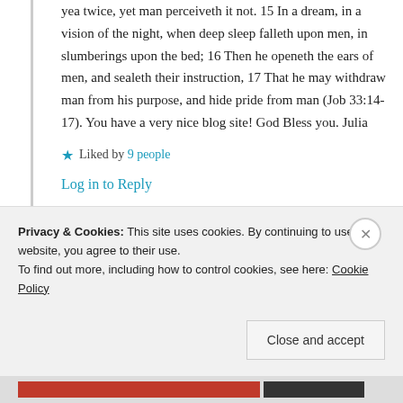yea twice, yet man perceiveth it not. 15 In a dream, in a vision of the night, when deep sleep falleth upon men, in slumberings upon the bed; 16 Then he openeth the ears of men, and sealeth their instruction, 17 That he may withdraw man from his purpose, and hide pride from man (Job 33:14-17). You have a very nice blog site! God Bless you. Julia
★ Liked by 9 people
Log in to Reply
Privacy & Cookies: This site uses cookies. By continuing to use this website, you agree to their use.
To find out more, including how to control cookies, see here: Cookie Policy
Close and accept